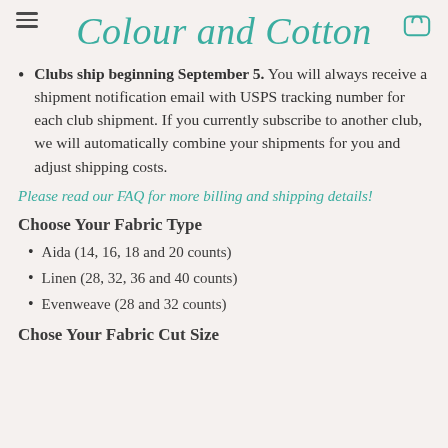Colour and Cotton
Clubs ship beginning September 5. You will always receive a shipment notification email with USPS tracking number for each club shipment. If you currently subscribe to another club, we will automatically combine your shipments for you and adjust shipping costs.
Please read our FAQ for more billing and shipping details!
Choose Your Fabric Type
Aida (14, 16, 18 and 20 counts)
Linen (28, 32, 36 and 40 counts)
Evenweave (28 and 32 counts)
Chose Your Fabric Cut Size